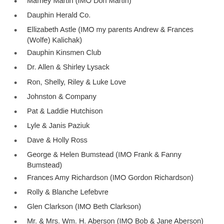Dennis Ringström
Marney Martin (IMO Don Martin)
Dauphin Herald Co.
Ellizabeth Astle (IMO my parents Andrew & Frances (Wolfe) Kalichak)
Dauphin Kinsmen Club
Dr. Allen & Shirley Lysack
Ron, Shelly, Riley & Luke Love
Johnston & Company
Pat & Laddie Hutchison
Lyle & Janis Paziuk
Dave & Holly Ross
George & Helen Bumstead (IMO Frank & Fanny Bumstead)
Frances Amy Richardson (IMO Gordon Richardson)
Rolly & Blanche Lefebvre
Glen Clarkson (IMO Beth Clarkson)
Mr. & Mrs. Wm. H. Aberson (IMO Bob & Jane Aberson)
United Commercial Travellers #932
Bessie Lampard (IMO Frank C. Lampard)